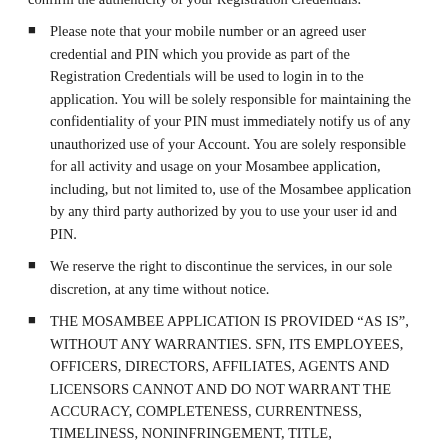confirm the authenticity of your Registration Credentials.
Please note that your mobile number or an agreed user credential and PIN which you provide as part of the Registration Credentials will be used to login in to the application. You will be solely responsible for maintaining the confidentiality of your PIN must immediately notify us of any unauthorized use of your Account. You are solely responsible for all activity and usage on your Mosambee application, including, but not limited to, use of the Mosambee application by any third party authorized by you to use your user id and PIN.
We reserve the right to discontinue the services, in our sole discretion, at any time without notice.
THE MOSAMBEE APPLICATION IS PROVIDED “AS IS”, WITHOUT ANY WARRANTIES. SFN, ITS EMPLOYEES, OFFICERS, DIRECTORS, AFFILIATES, AGENTS AND LICENSORS CANNOT AND DO NOT WARRANT THE ACCURACY, COMPLETENESS, CURRENTNESS, TIMELINESS, NONINFRINGEMENT, TITLE, MERCHANTABILITY OR FITNESS FOR A PARTICULAR PURPOSE OF THE CONTENT AVAILABLE THROUGH THE APPLICATION, OR THE APPLICATION